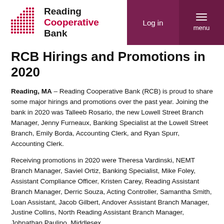[Figure (logo): Reading Cooperative Bank logo with red dot-grid icon and bank name in black and red text]
Log in  menu
RCB Hirings and Promotions in 2020
Reading, MA – Reading Cooperative Bank (RCB) is proud to share some major hirings and promotions over the past year. Joining the bank in 2020 was Talleeb Rosario, the new Lowell Street Branch Manager, Jenny Furneaux, Banking Specialist at the Lowell Street Branch, Emily Borda, Accounting Clerk, and Ryan Spurr, Accounting Clerk.
Receiving promotions in 2020 were Theresa Vardinski, NEMT Branch Manager, Saviel Ortiz, Banking Specialist, Mike Foley, Assistant Compliance Officer, Kristen Carey, Reading Assistant Branch Manager, Derric Souza, Acting Controller, Samantha Smith, Loan Assistant, Jacob Gilbert, Andover Assistant Branch Manager, Justine Collins, North Reading Assistant Branch Manager, Johnathan Paulino, Middlesex Assistant Branch Manager, Williamdakin, Banking Specialist,